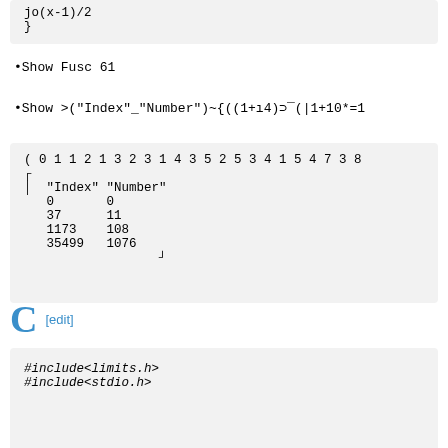jo(x-1)/2
}
•Show Fusc 61
•Show >("Index"_"Number")~{((1+ı4)⊃¯(|1+10*=1
( 0 1 1 2 1 3 2 3 1 4 3 5 2 5 3 4 1 5 4 7 3 8
┌
│  "Index" "Number"
   0       0
   37      11
   1173    108
   35499   1076
                  ┘
C [edit]
#include<limits.h>
#include<stdio.h>